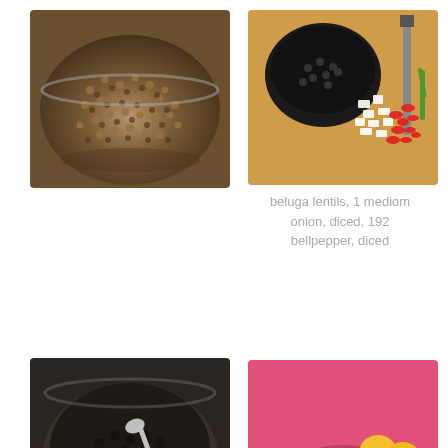[Figure (photo): Bowl of beluga lentils - small dark round lentils in a metallic bowl]
[Figure (photo): Chopping board with diced onion, red chili peppers, green onion, and a black pan with beluga lentils]
beluga lentils, 1 mediom onion, diced, 192 bellpepper, diced
[Figure (photo): Mixing bowl with lentils mixed with diced vegetables including red peppers, with a spoon]
mix with 1/4 cup
[Figure (photo): Pink/magenta background plate with ground lamb meat, eggs, and spices]
2 lb grd lamb, 2 oz whole
Advertisements